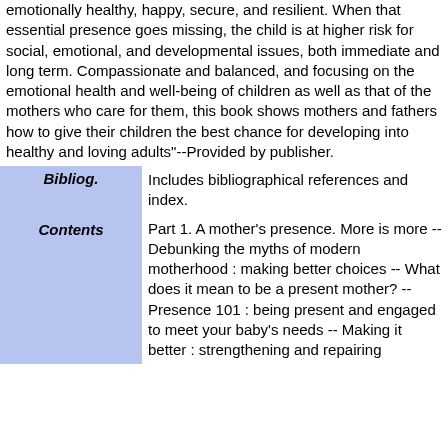emotionally healthy, happy, secure, and resilient. When that essential presence goes missing, the child is at higher risk for social, emotional, and developmental issues, both immediate and long term. Compassionate and balanced, and focusing on the emotional health and well-being of children as well as that of the mothers who care for them, this book shows mothers and fathers how to give their children the best chance for developing into healthy and loving adults"--Provided by publisher.
| Field | Content |
| --- | --- |
| Bibliog. | Includes bibliographical references and index. |
| Contents | Part 1. A mother's presence. More is more -- Debunking the myths of modern motherhood : making better choices -- What does it mean to be a present mother? -- Presence 101 : being present and engaged to meet your baby's needs -- Making it better : strengthening and repairing |